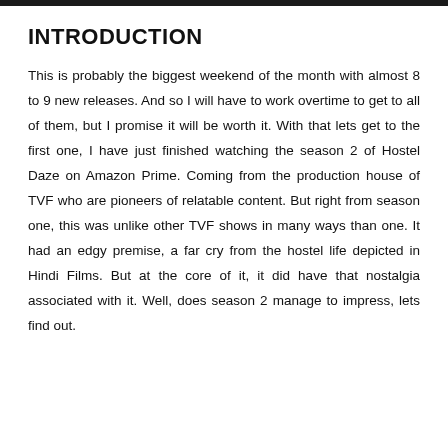INTRODUCTION
This is probably the biggest weekend of the month with almost 8 to 9 new releases. And so I will have to work overtime to get to all of them, but I promise it will be worth it. With that lets get to the first one, I have just finished watching the season 2 of Hostel Daze on Amazon Prime. Coming from the production house of TVF who are pioneers of relatable content. But right from season one, this was unlike other TVF shows in many ways than one. It had an edgy premise, a far cry from the hostel life depicted in Hindi Films. But at the core of it, it did have that nostalgia associated with it. Well, does season 2 manage to impress, lets find out.